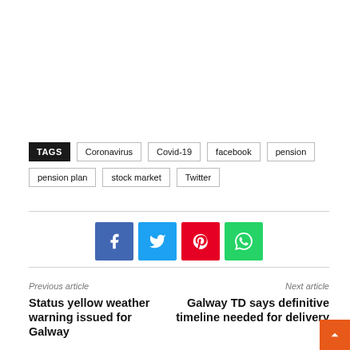TAGS  Coronavirus  Covid-19  facebook  pension  pension plan  stock market  Twitter
[Figure (infographic): Social share buttons: Facebook (blue), Twitter (light blue), Pinterest (red), WhatsApp (green)]
Previous article
Status yellow weather warning issued for Galway
Next article
Galway TD says definitive timeline needed for delivery